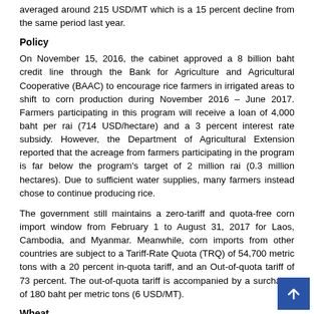averaged around 215 USD/MT which is a 15 percent decline from the same period last year.
Policy
On November 15, 2016, the cabinet approved a 8 billion baht credit line through the Bank for Agriculture and Agricultural Cooperative (BAAC) to encourage rice farmers in irrigated areas to shift to corn production during November 2016 – June 2017. Farmers participating in this program will receive a loan of 4,000 baht per rai (714 USD/hectare) and a 3 percent interest rate subsidy. However, the Department of Agricultural Extension reported that the acreage from farmers participating in the program is far below the program's target of 2 million rai (0.3 million hectares). Due to sufficient water supplies, many farmers instead chose to continue producing rice.
The government still maintains a zero-tariff and quota-free corn import window from February 1 to August 31, 2017 for Laos, Cambodia, and Myanmar. Meanwhile, corn imports from other countries are subject to a Tariff-Rate Quota (TRQ) of 54,700 metric tons with a 20 percent in-quota tariff, and an Out-of-quota tariff of 73 percent. The out-of-quota tariff is accompanied by a surcharge of 180 baht per metric tons (6 USD/MT).
Wheat